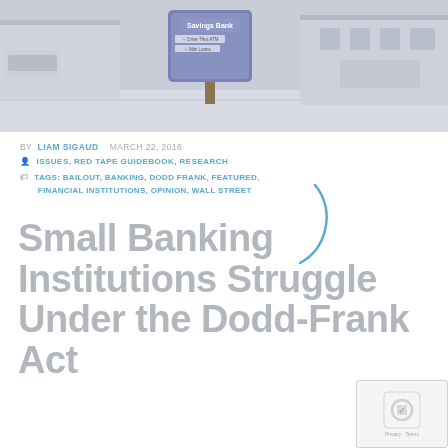[Figure (photo): Exterior photo of a Savings Bank building with a blue sign and brick post, parking lot and vehicles visible in background, muted/faded color treatment]
BY  LIAM SIGAUD    MARCH 22, 2016
ISSUES, RED TAPE GUIDEBOOK, RESEARCH
TAGS: BAILOUT, BANKING, DODD FRANK, FEATURED, FINANCIAL INSTITUTIONS, OPINION, WALL STREET
Small Banking Institutions Struggle Under the Dodd-Frank Act